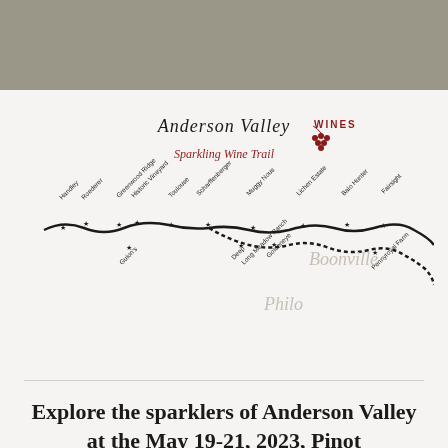[Figure (map): Anderson Valley Wines Sparkling Wine Trail map showing winery locations along a winding road with labels including Handley, Roederer, Greenwood Ridge Historic Vineyard, Toulouse, Scharffenberger, Husch, Muggy Nous, Lichen Estate, Balo Hunter, Fairsight, Guion's, Deep, Long Meadow Ranch, Goldeneye, Boonville, Philo, Pennyroyal Farm]
Explore the sparklers of Anderson Valley at the May 19-21, 2023, Pinot